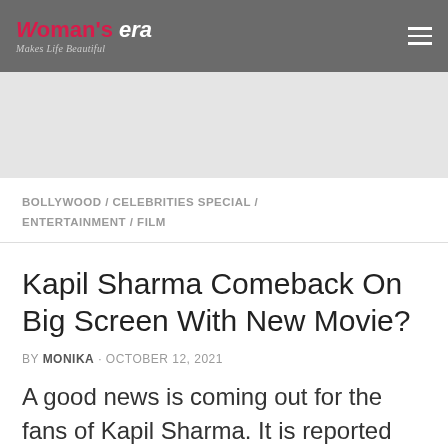Woman's era · Makes Life Beautiful
[Figure (other): Gray advertisement placeholder area]
BOLLYWOOD / CELEBRITIES SPECIAL / ENTERTAINMENT / FILM
Kapil Sharma Comeback On Big Screen With New Movie?
BY MONIKA · OCTOBER 12, 2021
A good news is coming out for the fans of Kapil Sharma. It is reported